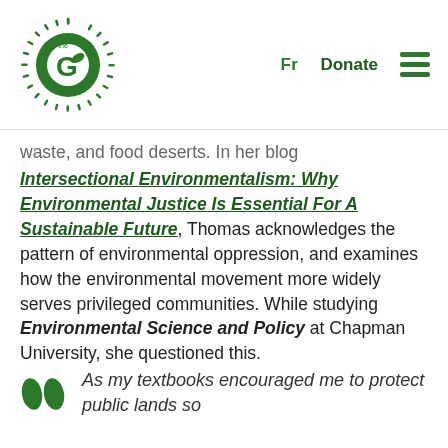The Gaia Project | Fr | Donate
waste, and food deserts. In her blog Intersectional Environmentalism: Why Environmental Justice Is Essential For A Sustainable Future, Thomas acknowledges the pattern of environmental oppression, and examines how the environmental movement more widely serves privileged communities. While studying Environmental Science and Policy at Chapman University, she questioned this.
As my textbooks encouraged me to protect public lands so